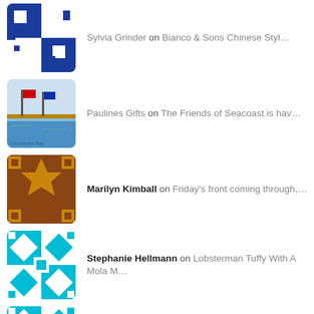Sylvia Grinder on Bianco & Sons Chinese Styl...
Paulines Gifts on The Friends of Seacoast is hav...
Marilyn Kimball on Friday's front coming through,...
Stephanie Hellmann on Lobsterman Tuffy With A Mola M...
Stephanie Hellmann on Moments
Joseph Mckechnie on We don't do nearly enoug...
Joey Ciaramitaro on Gloucester Prepares For Schoon...
Anonymous on Gloucester Prepares For Schoon...